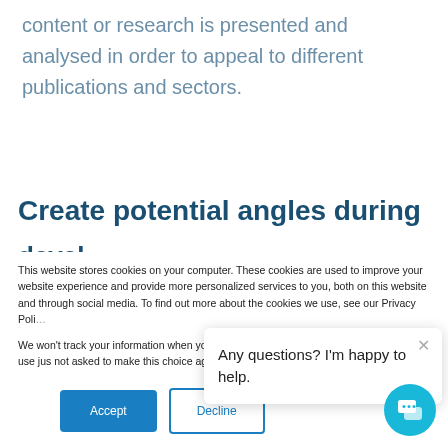content or research is presented and analysed in order to appeal to different publications and sectors.
Create potential angles during
This website stores cookies on your computer. These cookies are used to improve your website experience and provide more personalized services to you, both on this website and through social media. To find out more about the cookies we use, see our Privacy Policy.
We won't track your information when you visit our site. But in order to comply with your preferences, we'll have to use just one tiny cookie so that you're not asked to make this choice again.
Any questions? I'm happy to help.